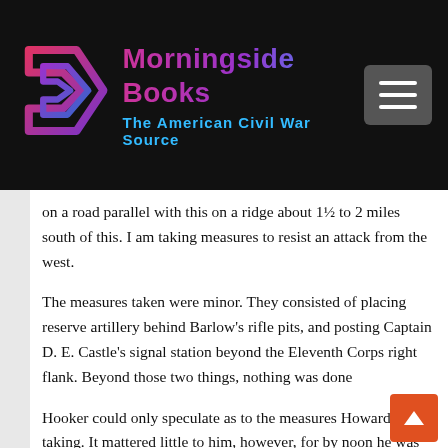[Figure (logo): Morningside Books logo with stylized arrow/book icon and text 'Morningside Books - The American Civil War Source' on dark background with hamburger menu button]
on a road parallel with this on a ridge about 1½ to 2 miles south of this. I am taking measures to resist an attack from the west.
The measures taken were minor. They consisted of placing reserve artillery behind Barlow's rifle pits, and posting Captain D. E. Castle's signal station beyond the Eleventh Corps right flank. Beyond those two things, nothing was done
Hooker could only speculate as to the measures Howard was taking. It mattered little to him, however, for by noon he was convinced that the Confederates were not attacking, but were in retreat.10 If this was a hasty assumption, it was